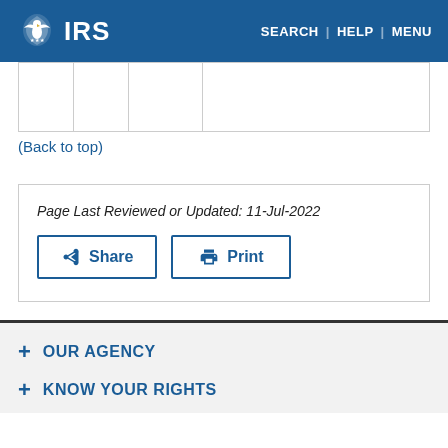IRS | SEARCH | HELP | MENU
|  |
(Back to top)
Page Last Reviewed or Updated: 11-Jul-2022
+ OUR AGENCY
+ KNOW YOUR RIGHTS